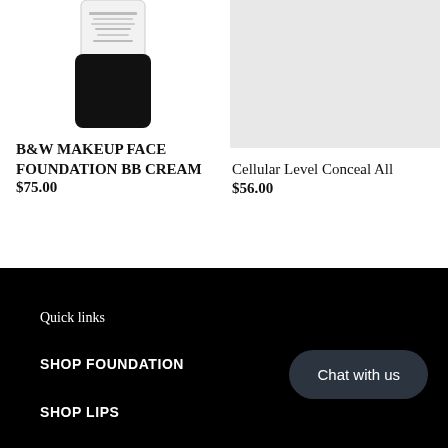[Figure (photo): Product image of B&W Makeup Face Foundation BB Cream — a white tube/jar with black lid]
[Figure (photo): Product image placeholder — light grey rectangle for Cellular Level Conceal All]
B&W MAKEUP FACE FOUNDATION BB CREAM
$75.00
Cellular Level Conceal All
$56.00
Quick links
SHOP FOUNDATION
SHOP LIPS
Chat with us